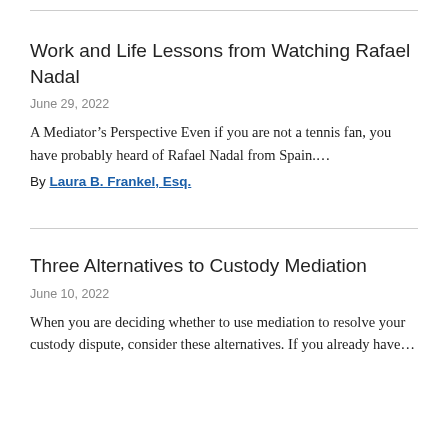Work and Life Lessons from Watching Rafael Nadal
June 29, 2022
A Mediator’s Perspective Even if you are not a tennis fan, you have probably heard of Rafael Nadal from Spain....
By Laura B. Frankel, Esq.
Three Alternatives to Custody Mediation
June 10, 2022
When you are deciding whether to use mediation to resolve your custody dispute, consider these alternatives. If you already have...